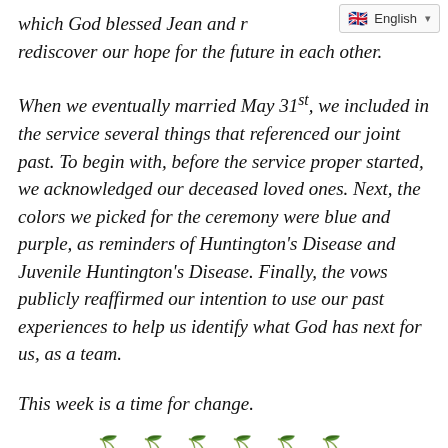[Figure (screenshot): Language selector bar showing English with UK flag and dropdown arrow]
which God blessed Jean and r… rediscover our hope for the future in each other.
When we eventually married May 31st, we included in the service several things that referenced our joint past. To begin with, before the service proper started, we acknowledged our deceased loved ones. Next, the colors we picked for the ceremony were blue and purple, as reminders of Huntington's Disease and Juvenile Huntington's Disease. Finally, the vows publicly reaffirmed our intention to use our past experiences to help us identify what God has next for us, as a team.
This week is a time for change.
[Figure (other): A row of six small cherry/fruit emoji used as a section divider]
Choosing to live in a small town always involves